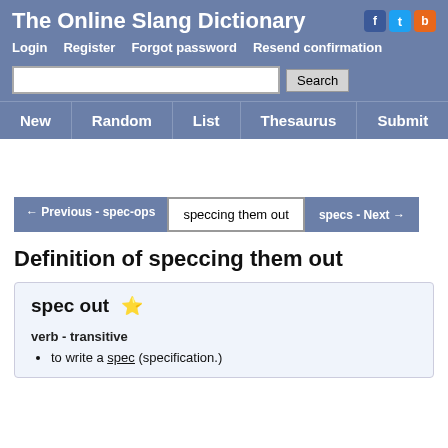The Online Slang Dictionary
Login   Register   Forgot password   Resend confirmation
New | Random | List | Thesaurus | Submit
← Previous - spec-ops   speccing them out   specs - Next →
Definition of speccing them out
spec out ⭐
verb - transitive
to write a spec (specification.)